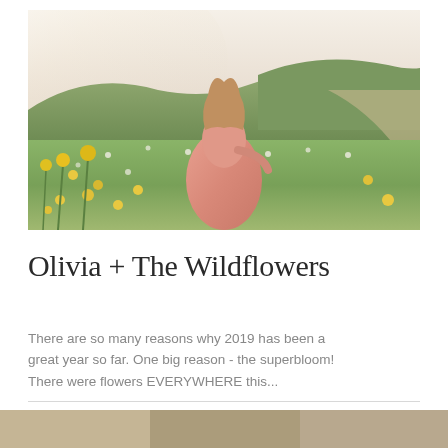[Figure (photo): Young woman in a pink/peach dress sitting in a field of wildflowers with green hills in the background]
Olivia + The Wildflowers
There are so many reasons why 2019 has been a great year so far. One big reason - the superbloom! There were flowers EVERYWHERE this...
[Figure (photo): Partial view of another photo at the bottom of the page]